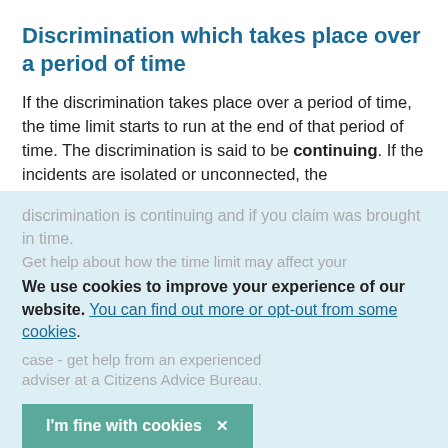Discrimination which takes place over a period of time
If the discrimination takes place over a period of time, the time limit starts to run at the end of that period of time. The discrimination is said to be continuing. If the incidents are isolated or unconnected, the discrimination isn't continuing and the time limit runs from each of the separate incidents.
If necessary, it's the courts which will decide if the
discrimination is continuing and if you claim was brought in time.
We use cookies to improve your experience of our website. You can find out more or opt-out from some cookies.